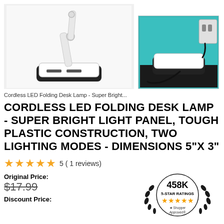[Figure (photo): Two product photos of a white and black cordless LED folding desk lamp. Left photo shows the lamp extended against white background. Right photo shows the lamp folded/closed on a dark desk surface with teal background and power cord.]
Cordless LED Folding Desk Lamp - Super Bright...
CORDLESS LED FOLDING DESK LAMP - SUPER BRIGHT LIGHT PANEL, TOUGH PLASTIC CONSTRUCTION, TWO LIGHTING MODES - DIMENSIONS 5"X 3"
5 ( 1 reviews)
Original Price:
$17.99
[Figure (logo): Shopper Approved badge showing 458K 5-STAR RATINGS with gold stars and laurel wreath design]
Discount Price: